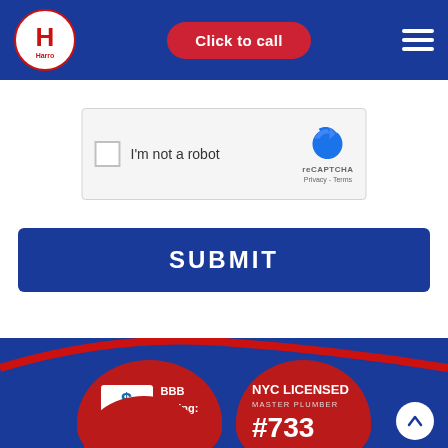[Figure (logo): Harro company logo - red H letter in circle]
Click to call
[Figure (screenshot): reCAPTCHA widget - I'm not a robot checkbox with reCAPTCHA logo, Privacy and Terms links]
SUBMIT
[Figure (infographic): BBB Rating A+ badge on red droplet shape on blue background]
[Figure (infographic): NYC LICENSED MASTER PLUMBER #733 badge on red droplet shape on blue background]